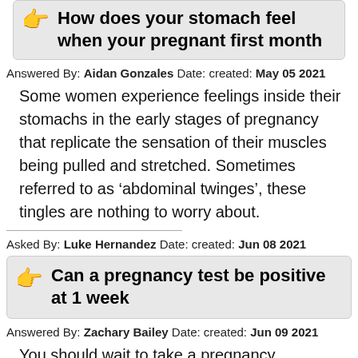How does your stomach feel when your pregnant first month
Answered By: Aidan Gonzales Date: created: May 05 2021
Some women experience feelings inside their stomachs in the early stages of pregnancy that replicate the sensation of their muscles being pulled and stretched. Sometimes referred to as ‘abdominal twinges’, these tingles are nothing to worry about.
Asked By: Luke Hernandez Date: created: Jun 08 2021
Can a pregnancy test be positive at 1 week
Answered By: Zachary Bailey Date: created: Jun 09 2021
You should wait to take a pregnancy